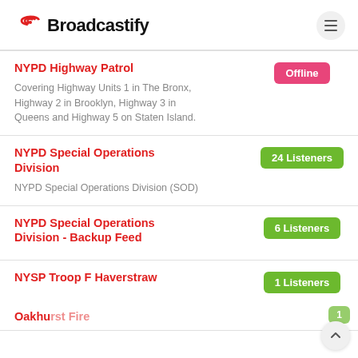Broadcastify
NYPD Highway Patrol – Covering Highway Units 1 in The Bronx, Highway 2 in Brooklyn, Highway 3 in Queens and Highway 5 on Staten Island. – Offline
NYPD Special Operations Division – NYPD Special Operations Division (SOD) – 24 Listeners
NYPD Special Operations Division - Backup Feed – 6 Listeners
NYSP Troop F Haverstraw – 1 Listeners